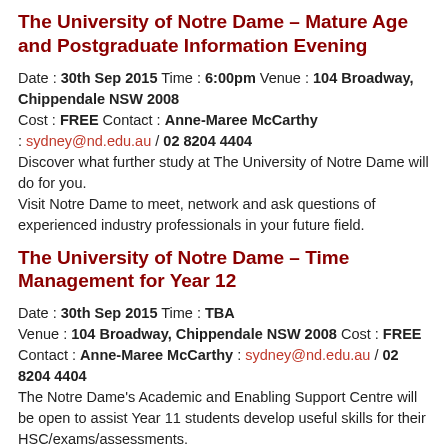The University of Notre Dame – Mature Age and Postgraduate Information Evening
Date : 30th Sep 2015 Time : 6:00pm Venue : 104 Broadway, Chippendale NSW 2008
Cost : FREE Contact : Anne-Maree McCarthy
: sydney@nd.edu.au / 02 8204 4404
Discover what further study at The University of Notre Dame will do for you.
Visit Notre Dame to meet, network and ask questions of experienced industry professionals in your future field.
The University of Notre Dame – Time Management for Year 12
Date : 30th Sep 2015 Time : TBA
Venue : 104 Broadway, Chippendale NSW 2008 Cost : FREE
Contact : Anne-Maree McCarthy : sydney@nd.edu.au / 02 8204 4404
The Notre Dame's Academic and Enabling Support Centre will be open to assist Year 11 students develop useful skills for their HSC/exams/assessments.
The University of Notre Dame – Applications Due for Semester One, 2016
Date : 30th Sep 2015 Time : 5:00pm